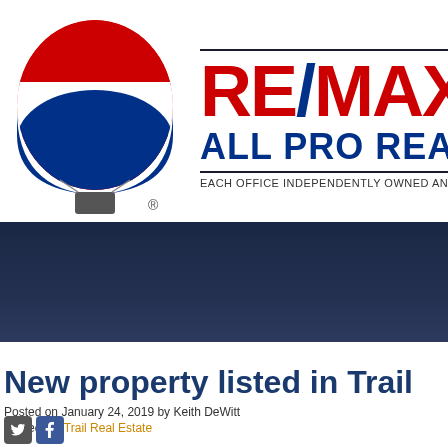[Figure (logo): RE/MAX hot air balloon logo with red top, white middle band with RE/MAX text, and blue bottom, with basket and registered trademark symbol]
RE/MAX ALL PRO REALTY
EACH OFFICE INDEPENDENTLY OWNED AND OPERATED
[Figure (photo): Dark navy blue banner/hero image area]
New property listed in Trail
Posted on January 24, 2019 by Keith DeWitt
Posted in: Trail Real Estate